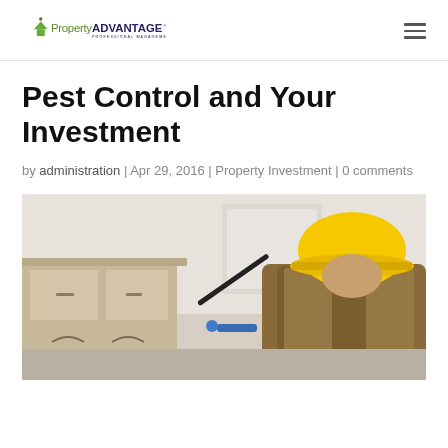Property Advantage Professional Management Partners
Pest Control and Your Investment
by administration | Apr 29, 2016 | Property Investment | 0 comments
[Figure (photo): A pest control worker wearing a yellow hard hat and brown uniform, crouching beside kitchen cabinets and spraying with a pest control wand/tool. Indoor kitchen/utility room setting.]